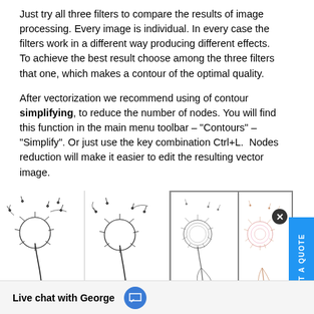Just try all three filters to compare the results of image processing. Every image is individual. In every case the filters work in a different way producing different effects. To achieve the best result choose among the three filters that one, which makes a contour of the optimal quality.
After vectorization we recommend using of contour simplifying, to reduce the number of nodes. You will find this function in the main menu toolbar – "Contours" – "Simplify". Or just use the key combination Ctrl+L.  Nodes reduction will make it easier to edit the resulting vector image.
[Figure (illustration): Four dandelion vector images side by side showing different image processing filter results, including original and contour simplified versions.]
he "contour simplified" images.